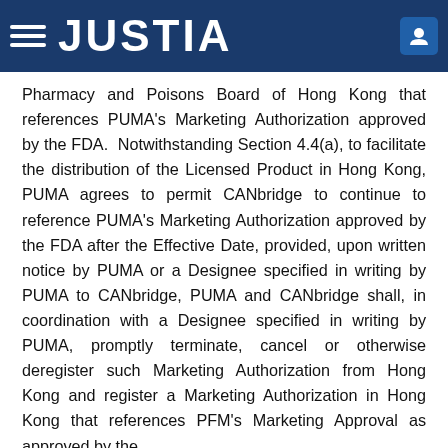JUSTIA
Pharmacy and Poisons Board of Hong Kong that references PUMA's Marketing Authorization approved by the FDA.  Notwithstanding Section 4.4(a), to facilitate the distribution of the Licensed Product in Hong Kong, PUMA agrees to permit CANbridge to continue to reference PUMA's Marketing Authorization approved by the FDA after the Effective Date, provided, upon written notice by PUMA or a Designee specified in writing by PUMA to CANbridge, PUMA and CANbridge shall, in coordination with a Designee specified in writing by PUMA, promptly terminate, cancel or otherwise deregister such Marketing Authorization from Hong Kong and register a Marketing Authorization in Hong Kong that references PFM's Marketing Approval as approved by the